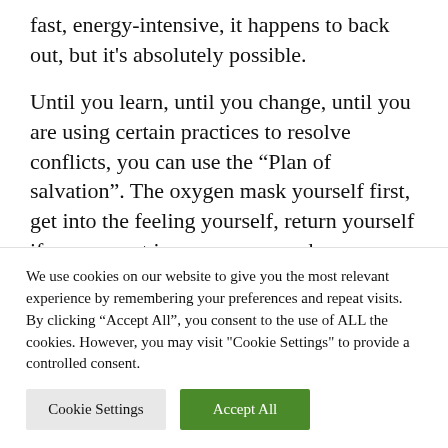fast, energy-intensive, it happens to back out, but it's absolutely possible.
Until you learn, until you change, until you are using certain practices to resolve conflicts, you can use the "Plan of salvation". The oxygen mask yourself first, get into the feeling yourself, return yourself if you are not in a green zone when you are absolutely calm, at
We use cookies on our website to give you the most relevant experience by remembering your preferences and repeat visits. By clicking "Accept All", you consent to the use of ALL the cookies. However, you may visit "Cookie Settings" to provide a controlled consent.
Cookie Settings | Accept All